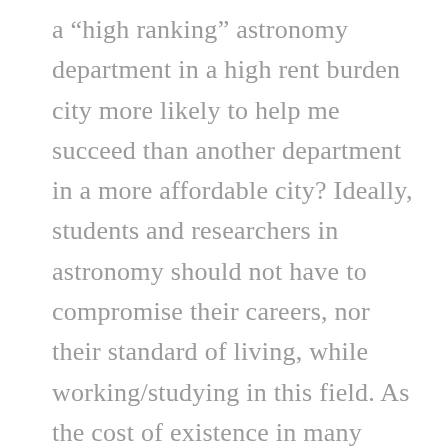a “high ranking” astronomy department in a high rent burden city more likely to help me succeed than another department in a more affordable city? Ideally, students and researchers in astronomy should not have to compromise their careers, nor their standard of living, while working/studying in this field. As the cost of existence in many cities continues to rise, it is ultimately the job of astronomy